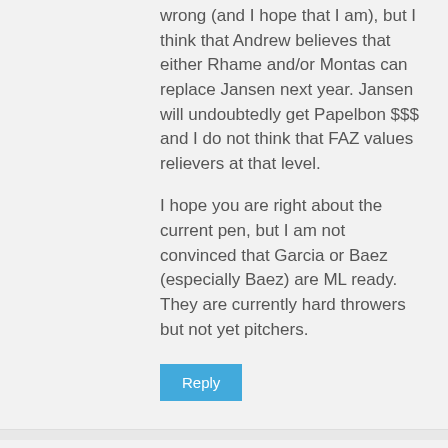wrong (and I hope that I am), but I think that Andrew believes that either Rhame and/or Montas can replace Jansen next year. Jansen will undoubtedly get Papelbon $$$ and I do not think that FAZ values relievers at that level.
I hope you are right about the current pen, but I am not convinced that Garcia or Baez (especially Baez) are ML ready. They are currently hard throwers but not yet pitchers.
Reply
Mountainmover Says:
APRIL 8, 2016 AT 11:07 AM
Alex Wood has generally not been impressive